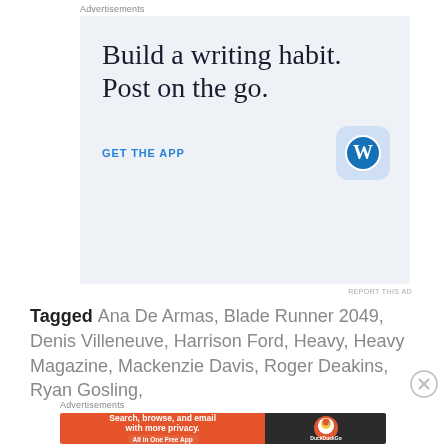Advertisements
[Figure (other): WordPress app advertisement: 'Build a writing habit. Post on the go.' with 'GET THE APP' CTA and WordPress logo icon on light blue background]
REPORT THIS AD
Tagged Ana De Armas, Blade Runner 2049, Denis Villeneuve, Harrison Ford, Heavy, Heavy Magazine, Mackenzie Davis, Roger Deakins, Ryan Gosling,
Advertisements
[Figure (other): DuckDuckGo advertisement: 'Search, browse, and email with more privacy. All in One Free App' on orange background with DuckDuckGo logo on dark background]
REPORT THIS AD